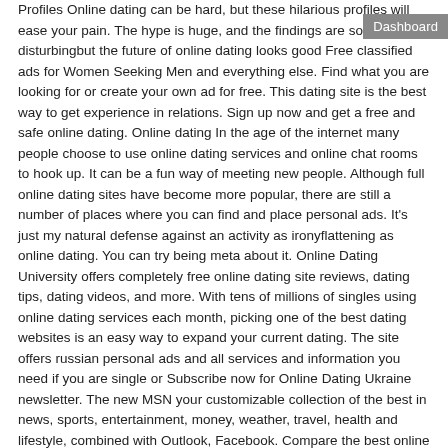Profiles Online dating can be hard, but these hilarious profiles will ease your pain. The hype is huge, and the findings are somewhat disturbingbut the future of online dating looks good Free classified ads for Women Seeking Men and everything else. Find what you are looking for or create your own ad for free. This dating site is the best way to get experience in relations. Sign up now and get a free and safe online dating. Online dating In the age of the internet many people choose to use online dating services and online chat rooms to hook up. It can be a fun way of meeting new people. Although full online dating sites have become more popular, there are still a number of places where you can find and place personal ads. It's just my natural defense against an activity as ironyflattening as online dating. You can try being meta about it. Online Dating University offers completely free online dating site reviews, dating tips, dating videos, and more. With tens of millions of singles using online dating services each month, picking one of the best dating websites is an easy way to expand your current dating. The site offers russian personal ads and all services and information you need if you are single or Subscribe now for Online Dating Ukraine newsletter. The new MSN your customizable collection of the best in news, sports, entertainment, money, weather, travel, health and lifestyle, combined with Outlook, Facebook. Compare the best online dating websites services using expert ratings and consumer reviews in the official ConsumerAffairs buyers guide. Honest online dating advice and free online dating guide from a guy who found